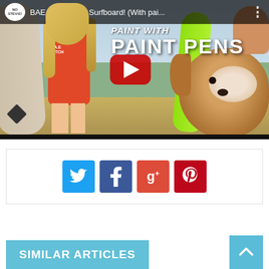[Figure (screenshot): YouTube video thumbnail showing a girl in a red swimsuit holding a surfboard on a beach, with text 'BAE Painted My Surfboard! (With pai...' in the top bar and 'PAINT WITH PAINT PENS' overlaid on the image. A dog (Cocker Spaniel) is visible on the right. A red YouTube play button is centered on the image.]
[Figure (infographic): Social media sharing buttons: Twitter (blue bird icon), Facebook (blue f), Google+ (red g+), Pinterest (red p)]
SIMILAR ARTICLES